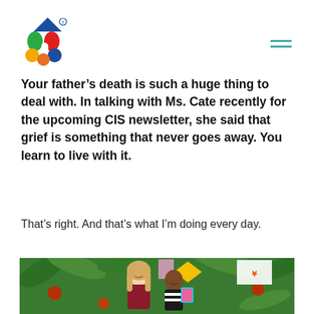CIS logo and navigation menu
Your father’s death is such a huge thing to deal with. In talking with Ms. Cate recently for the upcoming CIS newsletter, she said that grief is something that never goes away. You learn to live with it.
That’s right. And that’s what I’m doing every day.
[Figure (photo): A woman with long blonde hair and a young girl smiling together in front of a colorful art display with tropical leaves and flowers in the background.]